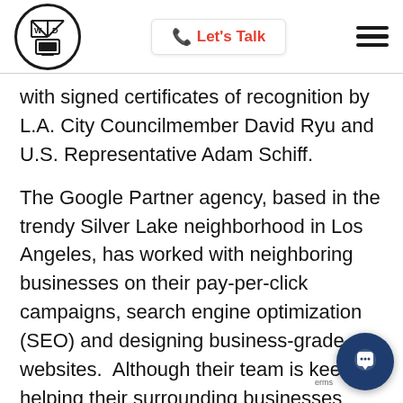Let's Talk
with signed certificates of recognition by L.A. City Councilmember David Ryu and U.S. Representative Adam Schiff.
The Google Partner agency, based in the trendy Silver Lake neighborhood in Los Angeles, has worked with neighboring businesses on their pay-per-click campaigns, search engine optimization (SEO) and designing business-grade websites. Although their team is keen to helping their surrounding businesses grow, the group has receiving an ever-increasing number of inqui...